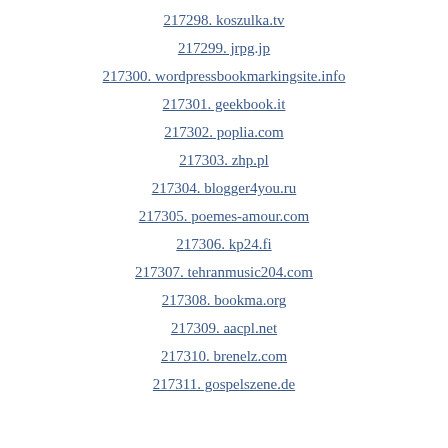217298. koszulka.tv
217299. jrpg.jp
217300. wordpressbookmarkingsite.info
217301. geekbook.it
217302. poplia.com
217303. zhp.pl
217304. blogger4you.ru
217305. poemes-amour.com
217306. kp24.fi
217307. tehranmusic204.com
217308. bookma.org
217309. aacpl.net
217310. brenelz.com
217311. gospelszene.de